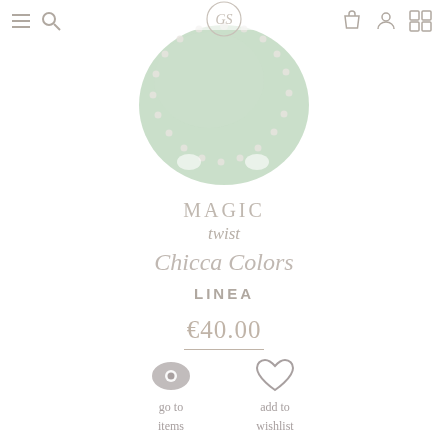[Figure (photo): Website header navigation bar with hamburger menu, search icon on the left, central logo emblem, and shopping bag, user account, and cart icons on the right]
[Figure (photo): Product photo of a green jade-colored circular brooch or pendant with white pearl/silver decorative border, shown on a white background]
MAGIC
twist
Chicca Colors
LINEA
€40.00
go to items
add to wishlist